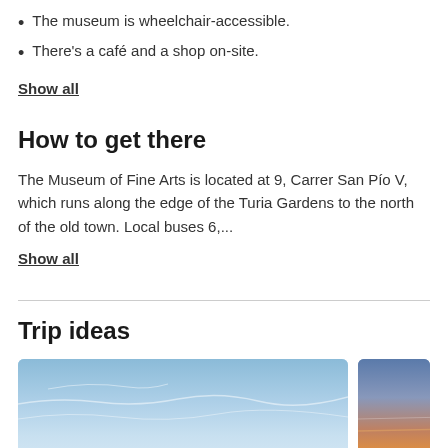The museum is wheelchair-accessible.
There's a café and a shop on-site.
Show all
How to get there
The Museum of Fine Arts is located at 9, Carrer San Pío V, which runs along the edge of the Turia Gardens to the north of the old town. Local buses 6,...
Show all
Trip ideas
[Figure (photo): Sky with wispy clouds, blue tones]
[Figure (photo): Sunset sky with orange and purple tones]